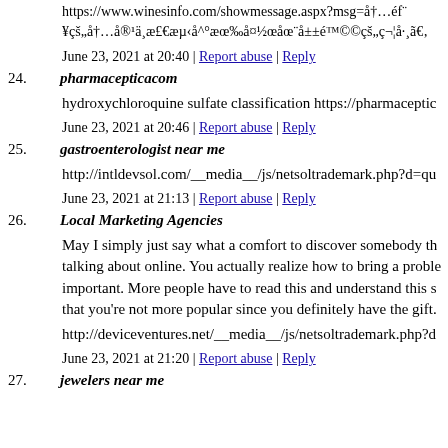https://www.winesinfo.com/showmessage.aspx?msg=å†…éf¨
¥çš„å†…å®¹ä¸æ£€æµ‹å^°æœ‰å¤½œåœ¨å±±é™©©çš„ç¬¦å·¸ã€‚
June 23, 2021 at 20:40 | Report abuse | Reply
24. pharmacepticacom
hydroxychloroquine sulfate classification https://pharmaceptic
June 23, 2021 at 20:46 | Report abuse | Reply
25. gastroenterologist near me
http://intldevsol.com/__media__/js/netsoltrademark.php?d=qu
June 23, 2021 at 21:13 | Report abuse | Reply
26. Local Marketing Agencies
May I simply just say what a comfort to discover somebody th talking about online. You actually realize how to bring a proble important. More people have to read this and understand this s that you're not more popular since you definitely have the gift.
http://deviceventures.net/__media__/js/netsoltrademark.php?d
June 23, 2021 at 21:20 | Report abuse | Reply
27. jewelers near me